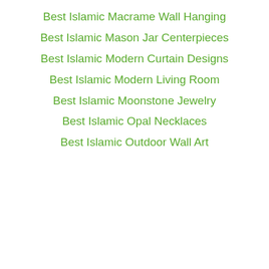Best Islamic Macrame Wall Hanging
Best Islamic Mason Jar Centerpieces
Best Islamic Modern Curtain Designs
Best Islamic Modern Living Room
Best Islamic Moonstone Jewelry
Best Islamic Opal Necklaces
Best Islamic Outdoor Wall Art